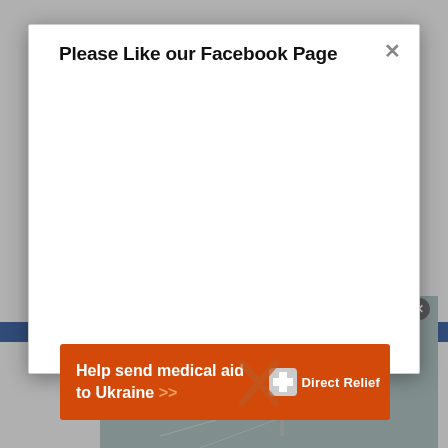Please Like our Facebook Page
[Figure (screenshot): Modal popup dialog with title 'Please Like our Facebook Page' and a close X button. The modal body is blank/white.]
No compatible source was found for this media.
[Figure (screenshot): Ad banner: Help send medical aid to Ukraine >> with Direct Relief logo and cross icon]
Help send medical aid to Ukraine >>